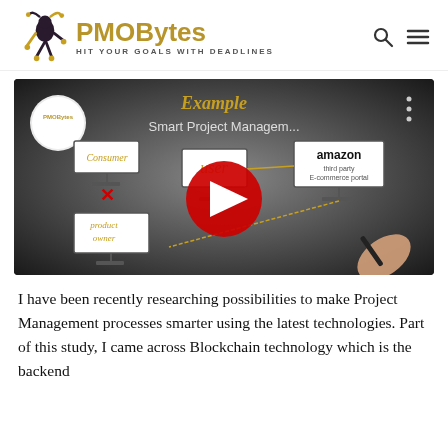[Figure (logo): PMOBytes logo with jester figure icon and tagline HIT YOUR GOALS WITH DEADLINES, plus search and menu icons]
[Figure (screenshot): YouTube video thumbnail for Smart Project Management video showing consumer, user, amazon e-commerce portal diagram with product owner and a hand holding a pen, with red YouTube play button overlay]
I have been recently researching possibilities to make Project Management processes smarter using the latest technologies. Part of this study, I came across Blockchain technology which is the backend